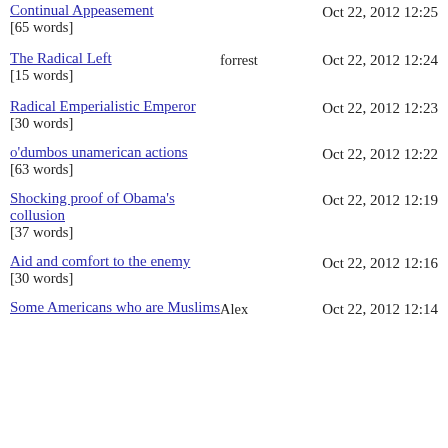Continual Appeasement [65 words] — Oct 22, 2012 12:25
The Radical Left [15 words] forrest — Oct 22, 2012 12:24
Radical Emperialistic Emperor [30 words] — Oct 22, 2012 12:23
o'dumbos unamerican actions [63 words] — Oct 22, 2012 12:22
Shocking proof of Obama's collusion [37 words] — Oct 22, 2012 12:19
Aid and comfort to the enemy [30 words] — Oct 22, 2012 12:16
Some Americans who are Muslims Alex — Oct 22, 2012 12:14